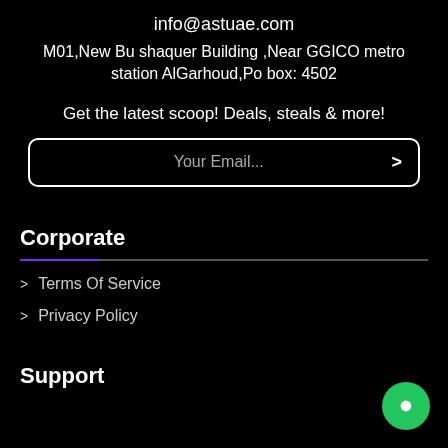info@astuae.com
M01,New Bu shaquer Building ,Near GGICO metro station AlGarhoud,Po box: 4502
Get the latest scoop! Deals, steals & more!
Your Email...
Corporate
> Terms Of Service
> Privacy Policy
Support